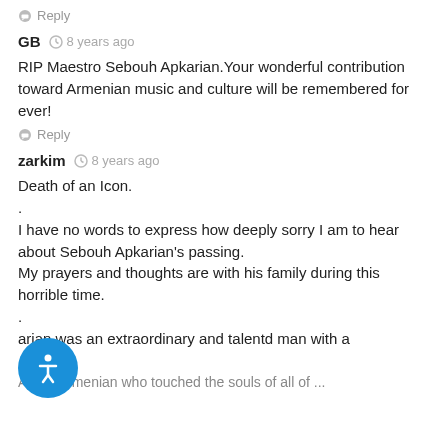Reply
GB  8 years ago
RIP Maestro Sebouh Apkarian.Your wonderful contribution toward Armenian music and culture will be remembered for ever!
Reply
zarkim  8 years ago
Death of an Icon.
.
I have no words to express how deeply sorry I am to hear about Sebouh Apkarian's passing.
My prayers and thoughts are with his family during this horrible time.
.
...arian was an extraordinary and talentd man with a ... heart.
A true Armenian who touched the souls of all of ...